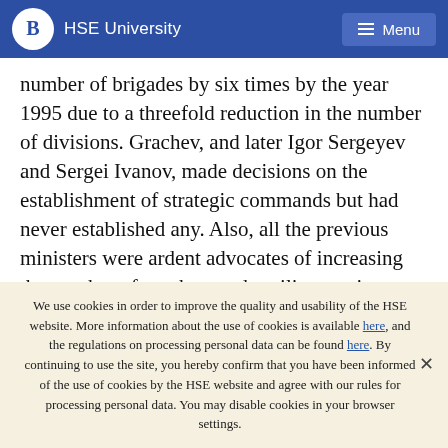HSE University  Menu
number of brigades by six times by the year 1995 due to a threefold reduction in the number of divisions. Grachev, and later Igor Sergeyev and Sergei Ivanov, made decisions on the establishment of strategic commands but had never established any. Also, all the previous ministers were ardent advocates of increasing the number of combat-ready military units. Suffice it to recall the much-touted (and later quietly shelved) Federal Target Program for 2003-2007 which provided
We use cookies in order to improve the quality and usability of the HSE website. More information about the use of cookies is available here, and the regulations on processing personal data can be found here. By continuing to use the site, you hereby confirm that you have been informed of the use of cookies by the HSE website and agree with our rules for processing personal data. You may disable cookies in your browser settings.